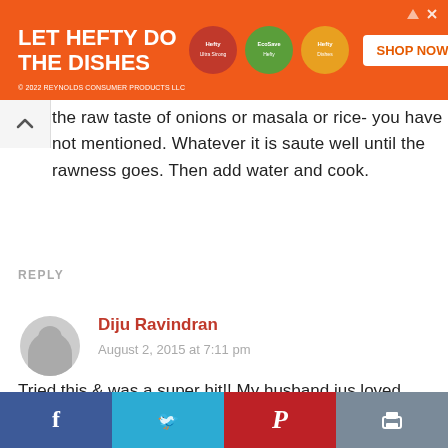[Figure (illustration): Orange Hefty advertisement banner: 'LET HEFTY DO THE DISHES' with product images and SHOP NOW button. © 2022 Reynolds Consumer Products LLC]
the raw taste of onions or masala or rice- you have not mentioned. Whatever it is saute well until the rawness goes. Then add water and cook.
REPLY
Diju Ravindran
August 2, 2015 at 7:11 pm
Tried this & was a super hit!! My husband jus loved it.. We have become a huge fan of your receipe's & thanks a ton for making cooking enjoyable!!
[Figure (infographic): Social media share bar with Facebook, Twitter, Pinterest, and Print buttons]